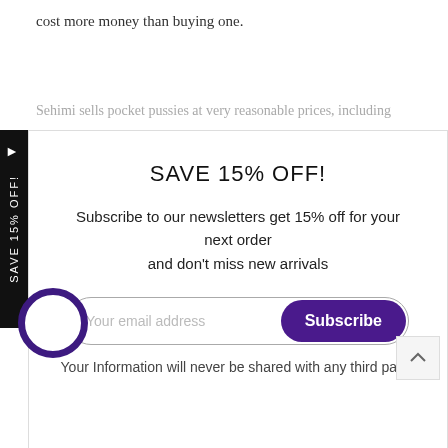cost more money than buying one.
Sehimi sells pocket pussies at very reasonable prices, including
[Figure (screenshot): Email newsletter subscription popup modal with 'SAVE 15% OFF!' heading, subscription text, email input field, Subscribe button in purple, and privacy note. Black sidebar tab on left reads 'SAVE 15% OFF!' vertically.]
your privacy.
We offer high-quality products that will give you optimal pleasure. All